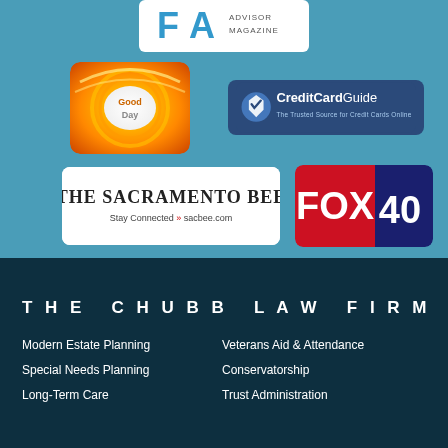[Figure (logo): FA Advisor Magazine logo at top]
[Figure (logo): GoodDay TV show logo]
[Figure (logo): CreditCardGuide logo - The Trusted Source for Credit Cards Online]
[Figure (logo): The Sacramento Bee newspaper logo - Stay Connected sacbee.com]
[Figure (logo): FOX 40 news logo]
THE CHUBB LAW FIRM
Modern Estate Planning
Veterans Aid & Attendance
Special Needs Planning
Conservatorship
Long-Term Care
Trust Administration